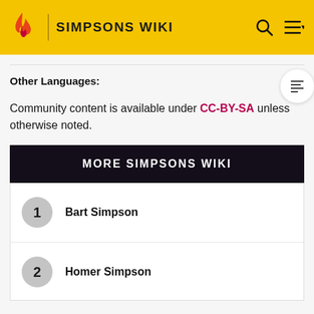SIMPSONS WIKI
Other Languages:
Community content is available under CC-BY-SA unless otherwise noted.
MORE SIMPSONS WIKI
1 Bart Simpson
2 Homer Simpson